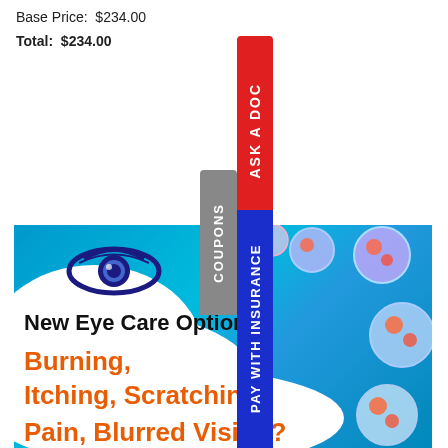Base Price:  $234.00
Total:  $234.00
[Figure (infographic): Eye care advertisement showing an eye logo, text 'New Eye Care Option', 'Burning, Itching, Scratching, Pain, Blurred Vision?' in orange on a blue background with bubble/cell imagery, and vertical sidebar tabs: 'ASK A DOC' (red), 'PAY WITH INSURANCE' (blue), 'COUPONS' (gray)]